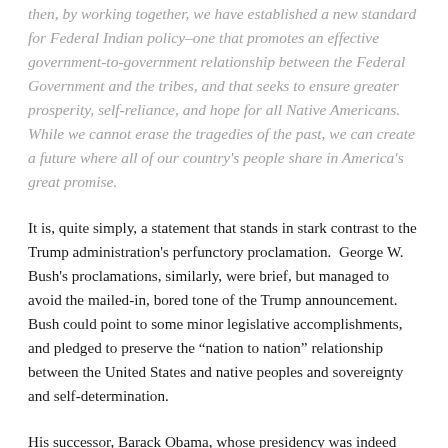then, by working together, we have established a new standard for Federal Indian policy–one that promotes an effective government-to-government relationship between the Federal Government and the tribes, and that seeks to ensure greater prosperity, self-reliance, and hope for all Native Americans. While we cannot erase the tragedies of the past, we can create a future where all of our country's people share in America's great promise.
It is, quite simply, a statement that stands in stark contrast to the Trump administration's perfunctory proclamation.  George W. Bush's proclamations, similarly, were brief, but managed to avoid the mailed-in, bored tone of the Trump announcement. Bush could point to some minor legislative accomplishments, and pledged to preserve the “nation to nation” relationship between the United States and native peoples and sovereignty and self-determination.
His successor, Barack Obama, whose presidency was indeed